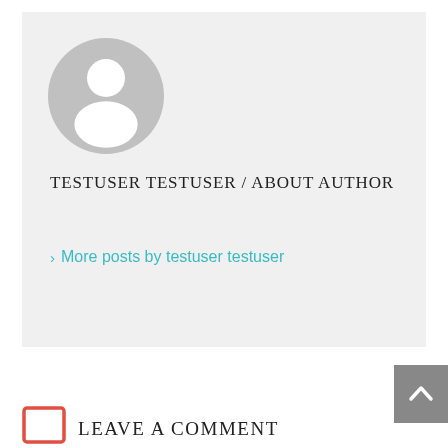[Figure (illustration): Default user avatar — a grey circle with a white silhouette of a person (head and shoulders)]
TESTUSER TESTUSER / ABOUT AUTHOR
› More posts by testuser testuser
[Figure (illustration): Grey scroll-to-top button with a white upward-pointing caret/arrow, positioned at the right edge]
[Figure (illustration): Red outlined square comment icon]
LEAVE A COMMENT